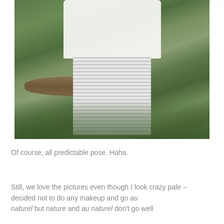[Figure (photo): A pregnant woman standing outdoors in a natural green field setting. She is wearing a white top and a long striped maxi skirt, cradling her baby bump. In the background there is a fallen log and lush green foliage/plants.]
Of course, all predictable pose. Haha.
Still, we love the pictures even though I look crazy pale – decided not to do any makeup and go au naturel but nature and au naturel don't go well